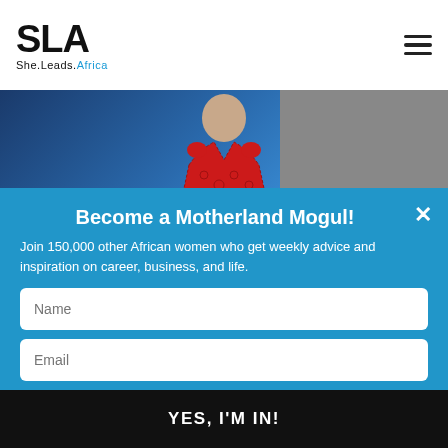[Figure (logo): SLA She.Leads.Africa logo with bold SLA text and tagline]
[Figure (photo): Woman in red lace dress against blue and grey background]
Become a Motherland Mogul!
Join 150,000 other African women who get weekly advice and inspiration on career, business, and life.
Name (form field placeholder)
Email (form field placeholder)
Country (form field placeholder)
YES, I'M IN!